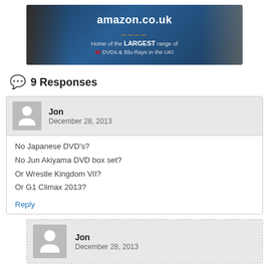[Figure (illustration): Amazon.co.uk banner advertisement featuring two WWE wrestlers and text: 'amazon.co.uk Home of the LARGEST range of WWE DVDs & Blu-Rays in the UK!']
9 Responses
Jon
December 28, 2013
No Japanese DVD's?
No Jun Akiyama DVD box set?
Or Wrestle Kingdom VII?
Or G1 Climax 2013?
Reply
Jon
December 28, 2013